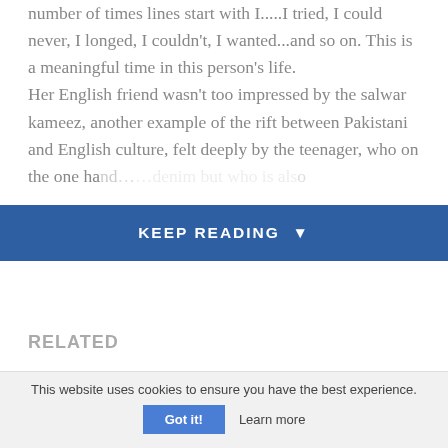number of times lines start with I.....I tried, I could never, I longed, I couldn't, I wanted...and so on. This is a meaningful time in this person's life. Her English friend wasn't too impressed by the salwar kameez, another example of the rift between Pakistani and English culture, felt deeply by the teenager, who on the one hand...denim but who is als...
RELATED
The essay is titled "My Favorite Day," it's about
This website uses cookies to ensure you have the best experience.
Got it!  Learn more